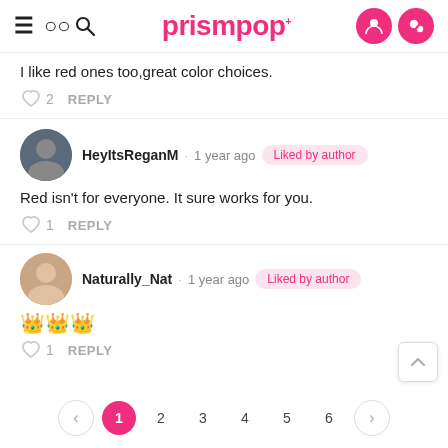prismpop
I like red ones too,great color choices.
♡ 2   REPLY
HeyItsReganM · 1 year ago  Liked by author
Red isn't for everyone. It sure works for you.
♡ 1   REPLY
Naturally_Nat · 1 year ago  Liked by author
👑👑👑
♡ 1   REPLY
< 1 2 3 4 5 6 >